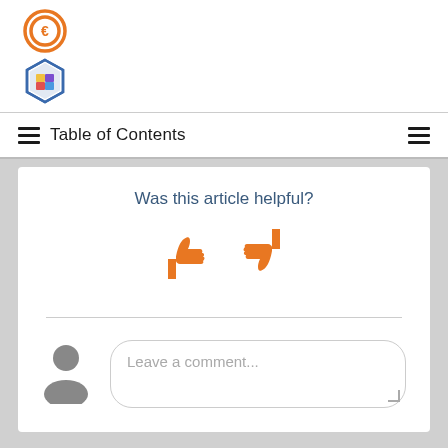[Figure (logo): Two logos stacked vertically: top is an orange copyright-style circular icon, bottom is a colorful hexagon icon]
Table of Contents
Was this article helpful?
[Figure (illustration): Orange thumbs up and thumbs down icons]
Leave a comment...